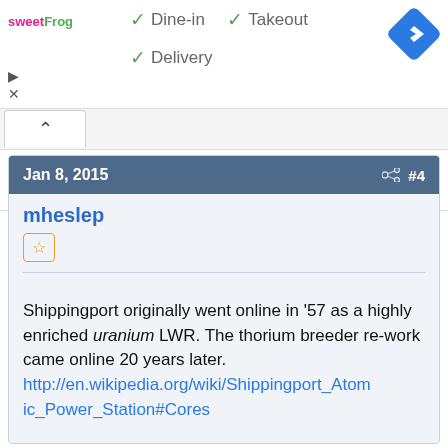[Figure (screenshot): sweetFrog logo with green and pink text]
✓ Dine-in
✓ Takeout
✓ Delivery
[Figure (logo): Blue navigation diamond/arrow icon]
Jan 8, 2015   #4
mheslep
Shippingport originally went online in '57 as a highly enriched uranium LWR. The thorium breeder re-work came online 20 years later. http://en.wikipedia.org/wiki/Shippingport_Atomic_Power_Station#Cores